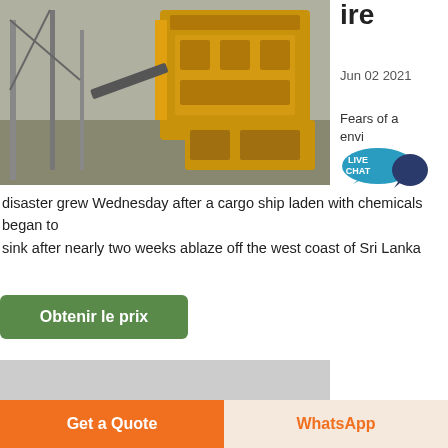[Figure (photo): Industrial crusher/mining equipment with yellow machinery and metal scaffolding]
ire
Jun 02 2021
Fears of a environmental
[Figure (infographic): Live Chat speech bubble icon in teal/dark blue]
disaster grew Wednesday after a cargo ship laden with chemicals began to sink after nearly two weeks ablaze off the west coast of Sri Lanka
Obtenir le prix
[Figure (photo): Open-air quarry/mining plant with rusty metal structures, conveyors, and industrial equipment]
Get a Quote
WhatsApp